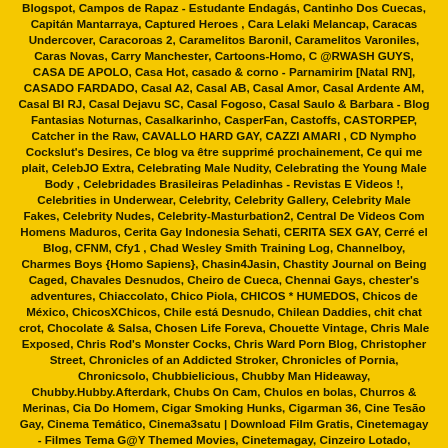Blogspot, Campos de Rapaz - Estudante Endagás, Cantinho Dos Cuecas, Capitán Mantarraya, Captured Heroes , Cara Lelaki Melancap, Caracas Undercover, Caracoroas 2, Caramelitos Baronil, Caramelitos Varoniles, Caras Novas, Carry Manchester, Cartoons-Homo, C @RWASH GUYS, CASA DE APOLO, Casa Hot, casado & corno - Parnamirim [Natal RN], CASADO FARDADO, Casal A2, Casal AB, Casal Amor, Casal Ardente AM, Casal BI RJ, Casal Dejavu SC, Casal Fogoso, Casal Saulo & Barbara - Blog Fantasias Noturnas, Casalkarinho, CasperFan, Castoffs, CASTORPEP, Catcher in the Raw, CAVALLO HARD GAY, CAZZI AMARI , CD Nympho Cockslut's Desires, Ce blog va être supprimé prochainement, Ce qui me plait, CelebJO Extra, Celebrating Male Nudity, Celebrating the Young Male Body , Celebridades Brasileiras Peladinhas - Revistas E Videos !, Celebrities in Underwear, Celebrity, Celebrity Gallery, Celebrity Male Fakes, Celebrity Nudes, Celebrity-Masturbation2, Central De Videos Com Homens Maduros, Cerita Gay Indonesia Sehati, CERITA SEX GAY, Cerré el Blog, CFNM, Cfy1 , Chad Wesley Smith Training Log, Channelboy, Charmes Boys {Homo Sapiens}, Chasin4Jasin, Chastity Journal on Being Caged, Chavales Desnudos, Cheiro de Cueca, Chennai Gays, chester's adventures, Chiaccolato, Chico Piola, CHICOS * HUMEDOS, Chicos de México, ChicosXChicos, Chile está Desnudo, Chilean Daddies, chit chat crot, Chocolate & Salsa, Chosen Life Foreva, Chouette Vintage, Chris Male Exposed, Chris Rod's Monster Cocks, Chris Ward Porn Blog, Christopher Street, Chronicles of an Addicted Stroker, Chronicles of Pornia, Chronicsolo, Chubbielicious, Chubby Man Hideaway, Chubby.Hubby.Afterdark, Chubs On Cam, Chulos en bolas, Churros & Merinas, Cia Do Homem, Cigar Smoking Hunks, Cigarman 36, Cine Tesão Gay, Cinema Temático, Cinema3satu | Download Film Gratis, Cinetemagay - Filmes Tema G@Y Themed Movies, Cinetemagay, Cinzeiro Lotado, Circoncis, Circoncis2, Circoncis3, Circoncis4, City Solo, ciutte boyz, C-Lads-Here, class your man, Clássicosdos Romances Gay!, Clean My Harddrive, Clean Skin - No Tattoos, CLICK-CLICK-ROSE, Climaxboys, CLIPHOTGAY, Clipped Boys